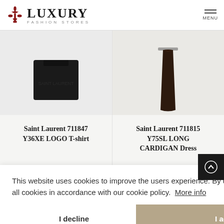[Figure (logo): Luxury Fashion Stores logo with fleur-de-lis icon and LUXURY text, FASHION STORES subtitle, and MENU icon]
[Figure (photo): Saint Laurent black logo T-shirt product photo]
Saint Laurent 711847 Y36XE LOGO T-shirt
[Figure (photo): Saint Laurent dark brown long cardigan dress product photo]
Saint Laurent 711815 Y75SL LONG CARDIGAN Dress
This website uses cookies to improve the users experience. By using our site you consent to all cookies in accordance with our cookie policy.  More info
I decline
I accept